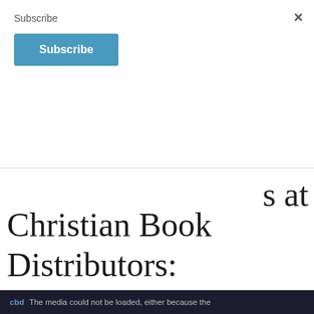Subscribe
[Figure (screenshot): Blue 'Subscribe' button]
s at
Christian Book Distributors:
Check out these items from Christian Book Distributors.
Privacy & Cookies: This site uses cookies. By continuing to use this website, you agree to their use.
To find out more, including how to control cookies, see here: Cookie Policy
Close and accept
The media could not be loaded, either because the